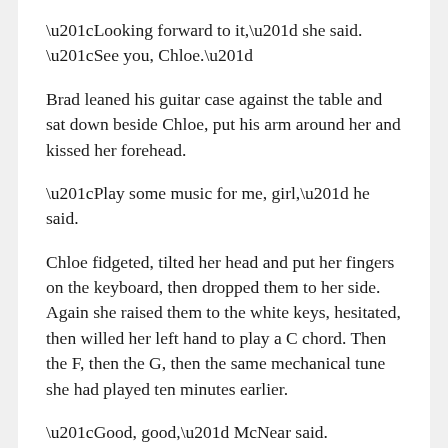“Looking forward to it,” she said. “See you, Chloe.”
Brad leaned his guitar case against the table and sat down beside Chloe, put his arm around her and kissed her forehead.
“Play some music for me, girl,” he said.
Chloe fidgeted, tilted her head and put her fingers on the keyboard, then dropped them to her side. Again she raised them to the white keys, hesitated, then willed her left hand to play a C chord. Then the F, then the G, then the same mechanical tune she had played ten minutes earlier.
“Good, good,” McNear said. “Keep going.” He opened his guitar case and turned around so the Martin rested across his lap. At first he strummed along, playing the same chords as Chloe, but on the second